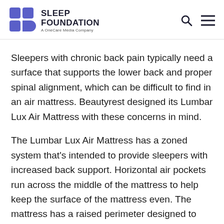Sleep Foundation — A OneCare Media Company
Sleepers with chronic back pain typically need a surface that supports the lower back and proper spinal alignment, which can be difficult to find in an air mattress. Beautyrest designed its Lumbar Lux Air Mattress with these concerns in mind.
The Lumbar Lux Air Mattress has a zoned system that's intended to provide sleepers with increased back support. Horizontal air pockets run across the middle of the mattress to help keep the surface of the mattress even. The mattress has a raised perimeter designed to help with overall stability and offer added support for those who sleep near the